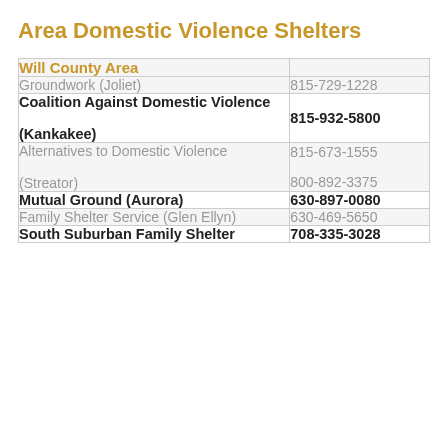Area Domestic Violence Shelters
|  |  |
| --- | --- |
| Will County Area |  |
| Groundwork (Joliet) | 815-729-1228 |
| Coalition Against Domestic Violence (Kankakee) | 815-932-5800 |
| Alternatives to Domestic Violence (Streator) | 815-673-1555
800-892-3375 |
| Mutual Ground (Aurora) | 630-897-0080 |
| Family Shelter Service (Glen Ellyn) | 630-469-5650 |
| South Suburban Family Shelter | 708-335-3028 |